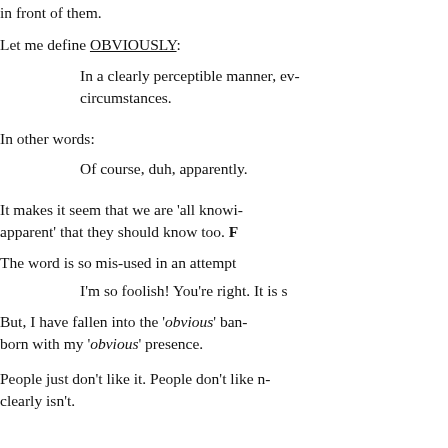in front of them.
Let me define OBVIOUSLY:
In a clearly perceptible manner, ev- circumstances.
In other words:
Of course, duh, apparently.
It makes it seem that we are 'all knowi- apparent' that they should know too. F
The word is so mis-used in an attempt
I'm so foolish! You're right. It is s
But, I have fallen into the 'obvious' ban- born with my 'obvious' presence.
People just don't like it. People don't like n- clearly isn't.